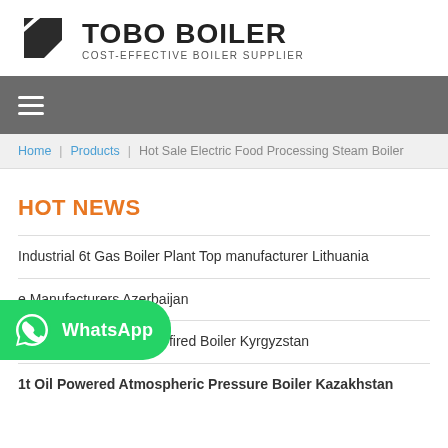[Figure (logo): Tobo Boiler logo with dark triangular/flag icon and text 'TOBO BOILER' and subtitle 'COST-EFFECTIVE BOILER SUPPLIER']
≡
Home / Products / Hot Sale Electric Food Processing Steam Boiler
HOT NEWS
Industrial 6t Gas Boiler Plant Top manufacturer Lithuania
e Manufacturers Azerbaijan
For Sale Industrial 1t oil fired Boiler Kyrgyzstan
1t Oil Powered Atmospheric Pressure Boiler Kazakhstan
[Figure (logo): WhatsApp button badge — green rounded rectangle with WhatsApp icon and 'WhatsApp' text]